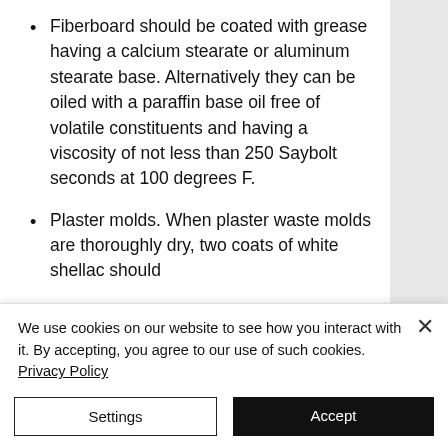Fiberboard should be coated with grease having a calcium stearate or aluminum stearate base. Alternatively they can be oiled with a paraffin base oil free of volatile constituents and having a viscosity of not less than 250 Saybolt seconds at 100 degrees F.
Plaster molds. When plaster waste molds are thoroughly dry, two coats of white shellac should
We use cookies on our website to see how you interact with it. By accepting, you agree to our use of such cookies. Privacy Policy